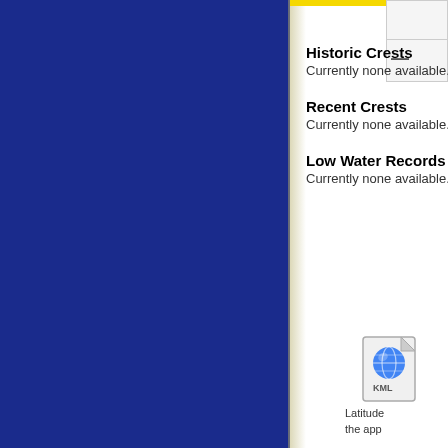Historic Crests
Currently none available.
Recent Crests
Currently none available.
Low Water Records
Currently none available.
[Figure (logo): KML file icon with Google Earth globe logo, followed by partial text 'Latitude' and 'the app']